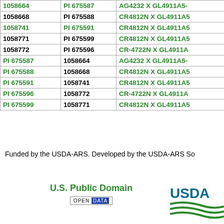| [col1] | [col2] | [col3] |
| --- | --- | --- |
| 1058664 | PI 675587 | AG4232 X GL4911A5- |
| 1058668 | PI 675588 | CR4812N X GL4911A5 |
| 1058741 | PI 675591 | CR4812N X GL4911A5 |
| 1058771 | PI 675599 | CR4812N X GL4911A5 |
| 1058772 | PI 675596 | CR-4722N X GL4911A |
| PI 675587 | 1058664 | AG4232 X GL4911A5- |
| PI 675588 | 1058668 | CR4812N X GL4911A5 |
| PI 675591 | 1058741 | CR4812N X GL4911A5 |
| PI 675596 | 1058772 | CR-4722N X GL4911A |
| PI 675599 | 1058771 | CR4812N X GL4911A5 |
Funded by the USDA-ARS. Developed by the USDA-ARS So
U.S. Public Domain
[Figure (logo): USDA logo with green swoosh lines and USDA text in dark teal]